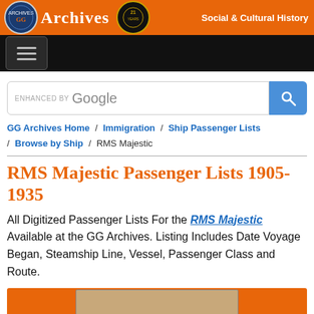[Figure (logo): GG Archives website header with orange background, logo, badge, and 'Social & Cultural History' tagline]
[Figure (screenshot): Black navigation bar with hamburger menu button]
[Figure (screenshot): Google search bar with enhanced by Google text and blue search button]
GG Archives Home / Immigration / Ship Passenger Lists / Browse by Ship / RMS Majestic
RMS Majestic Passenger Lists 1905-1935
All Digitized Passenger Lists For the RMS Majestic Available at the GG Archives. Listing Includes Date Voyage Began, Steamship Line, Vessel, Passenger Class and Route.
[Figure (photo): Bottom image strip showing a partial ship photograph with orange border]